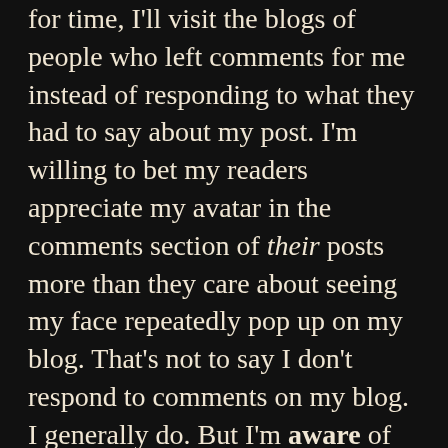for time, I'll visit the blogs of people who left comments for me instead of responding to what they had to say about my post. I'm willing to bet my readers appreciate my avatar in the comments section of their posts more than they care about seeing my face repeatedly pop up on my blog. That's not to say I don't respond to comments on my blog. I generally do. But I'm aware of my comments section being about me, whereas visiting another blogger's latest post is about that person.
BUT DOESN'T THIS ALL TAKE